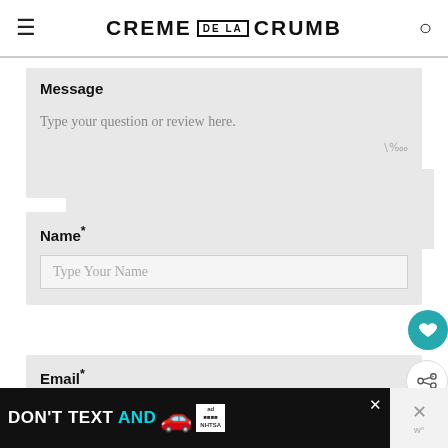CREME DE LA CRUMB
Message
Type your question or review here.
Name*
Type Your Name
Email*
Type Your Email Address
WHAT'S NEXT → Herb Butter Salmon and...
Notify me via e-mail if anyone answers my
[Figure (screenshot): Ad banner: DON'T TEXT AND [car emoji] with NHTSA logo and close buttons]